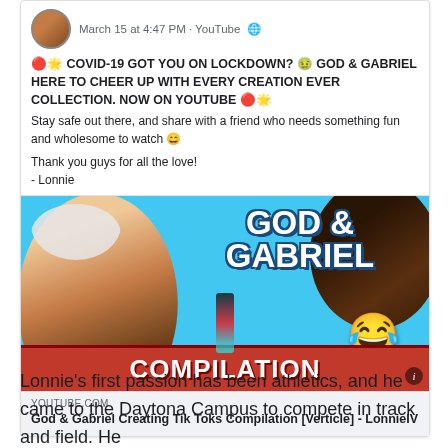[Figure (screenshot): Facebook post screenshot showing a profile picture, timestamp 'March 15 at 4:47 PM · YouTube' with globe icon, bold uppercase text about COVID-19 and God & Gabriel YouTube compilation, followed by a YouTube link preview thumbnail showing two people and text 'GOD & GABRIEL COMPILATION' with a laughing emoji, and link metadata showing YOUTUBE.COM and title 'God & Gabriel Creating Tik Toks Compilation [Verticle] - LonnieIV']
Lonnie's first passion has been athletics, and he came to the Daytona Campus to compete in track and field. He